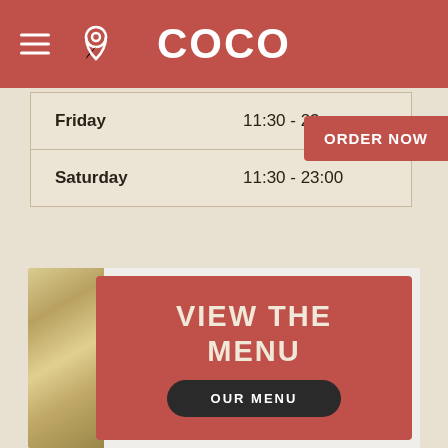COCO
| Day | Hours |
| --- | --- |
| Friday | 11:30 - 23:00 |
| Saturday | 11:30 - 23:00 |
ORDER NOW
VIEW THE MENU
OUR MENU